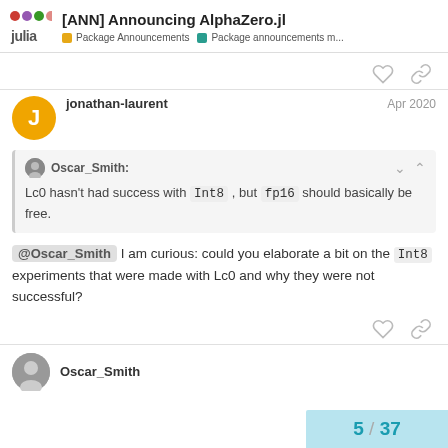[ANN] Announcing AlphaZero.jl — Package Announcements, Package announcements m...
jonathan-laurent — Apr 2020
Oscar_Smith: Lc0 hasn't had success with Int8, but fp16 should basically be free.
@Oscar_Smith I am curious: could you elaborate a bit on the Int8 experiments that were made with Lc0 and why they were not successful?
5 / 37
Oscar_Smith